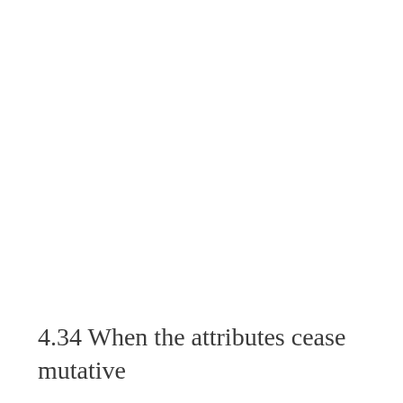4.34 When the attributes cease mutative